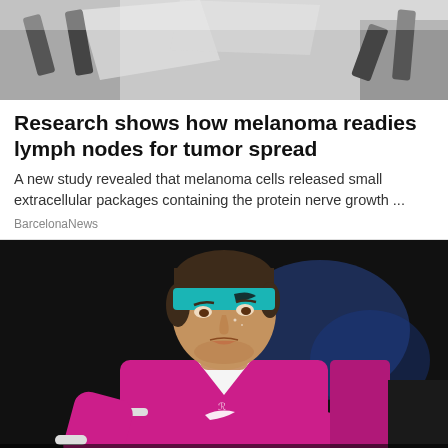[Figure (photo): Partial top image cropped, showing blurred dark background with some light/reflective surface visible]
Research shows how melanoma readies lymph nodes for tumor spread
A new study revealed that melanoma cells released small extracellular packages containing the protein nerve growth ...
BarcelonaNews
[Figure (photo): Tennis player wearing a pink/magenta Nike shirt and teal Nike headband, appearing to be Rafael Nadal, shown from torso up with an intense expression, dark bokeh background with blue light]